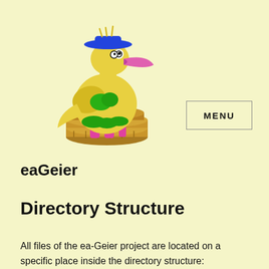[Figure (illustration): Cartoon yellow vulture/bird wearing a blue hat, holding green leaves, standing on a stack of coins. Logo/mascot for eaGeier project.]
eaGeier
Directory Structure
All files of the ea-Geier project are located on a specific place inside the directory structure: